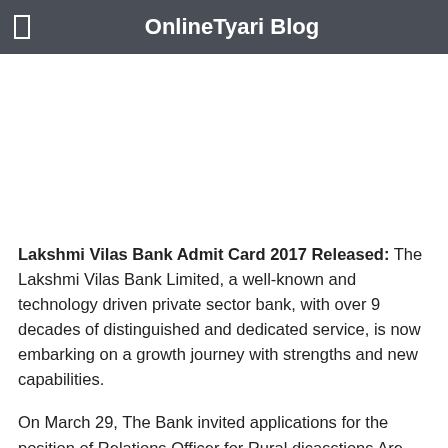OnlineTyari Blog
[Figure (other): Advertisement or blank image area]
Lakshmi Vilas Bank Admit Card 2017 Released: The Lakshmi Vilas Bank Limited, a well-known and technology driven private sector bank, with over 9 decades of distinguished and dedicated service, is now embarking on a growth journey with strengths and new capabilities.
On March 29, The Bank invited applications for the position of Relations Officer for Rural dicasstions Are from LVB